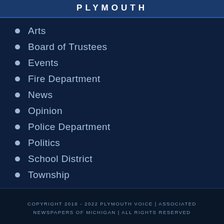PLYMOUTH
Arts
Board of Trustees
Events
Fire Department
News
Opinion
Police Department
Politics
School District
Township
COPYRIGHT 2018 - 2022 PLYMOUTH VOICE | ASSOCIATED NEWSPAPERS OF MICHIGAN | ALL RIGHTS RESERVED